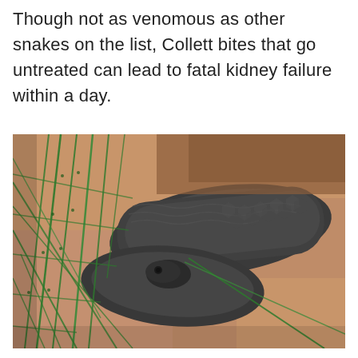Though not as venomous as other snakes on the list, Collett bites that go untreated can lead to fatal kidney failure within a day.
[Figure (photo): A dark-scaled snake (Collett's snake) coiled and entangled in a green net/rope, resting on a sandy/orange surface.]